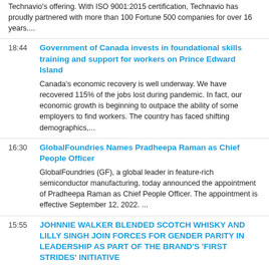Technavio's offering. With ISO 9001:2015 certification, Technavio has proudly partnered with more than 100 Fortune 500 companies for over 16 years....
Government of Canada invests in foundational skills training and support for workers on Prince Edward Island
Canada's economic recovery is well underway. We have recovered 115% of the jobs lost during pandemic. In fact, our economic growth is beginning to outpace the ability of some employers to find workers. The country has faced shifting demographics,...
GlobalFoundries Names Pradheepa Raman as Chief People Officer
GlobalFoundries (GF), a global leader in feature-rich semiconductor manufacturing, today announced the appointment of Pradheepa Raman as Chief People Officer. The appointment is effective September 12, 2022. ...
JOHNNIE WALKER BLENDED SCOTCH WHISKY AND LILLY SINGH JOIN FORCES FOR GENDER PARITY IN LEADERSHIP AS PART OF THE BRAND'S 'FIRST STRIDES' INITIATIVE